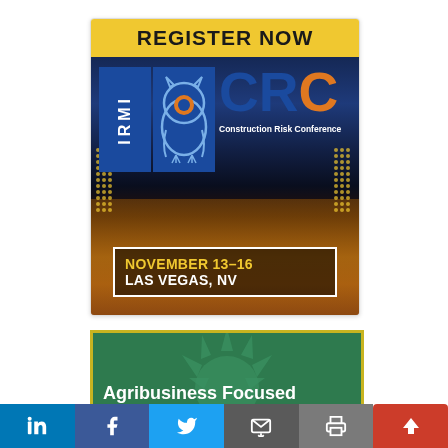[Figure (illustration): IRMI CRC Construction Risk Conference advertisement with 'REGISTER NOW' banner, Las Vegas cityscape background, IRMI owl logo, CRC letters in blue and orange, and date/location box showing November 13-16, Las Vegas, NV]
[Figure (illustration): Agribusiness Focused advertisement with green background, sun/rays graphic in darker green, and white text reading 'Agribusiness Focused']
[Figure (other): Social sharing bar with LinkedIn, Facebook, Twitter, Email, Print, and scroll-up buttons]